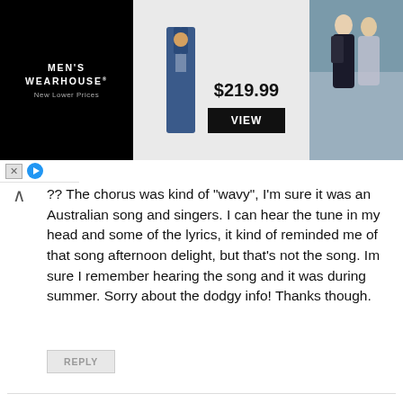[Figure (screenshot): Men's Wearhouse advertisement banner showing a suit for $219.99 with a VIEW button, suit photo on the left and a couple in formal wear on the right. Black background on left panel.]
?? The chorus was kind of "wavy", I'm sure it was an Australian song and singers. I can hear the tune in my head and some of the lyrics, it kind of reminded me of that song afternoon delight, but that's not the song. Im sure I remember hearing the song and it was during summer. Sorry about the dodgy info! Thanks though.
REPLY
PAUL B. GUY
October 21, 2017, 9:27 am
Hi Sally,